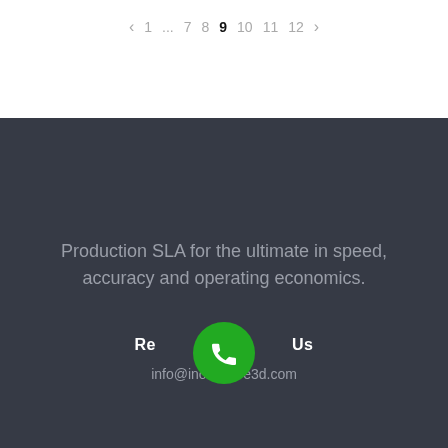‹ 1 … 7 8 9 10 11 12 ›
Production SLA for the ultimate in speed, accuracy and operating economics.
Reach Us
info@inoventive3d.com